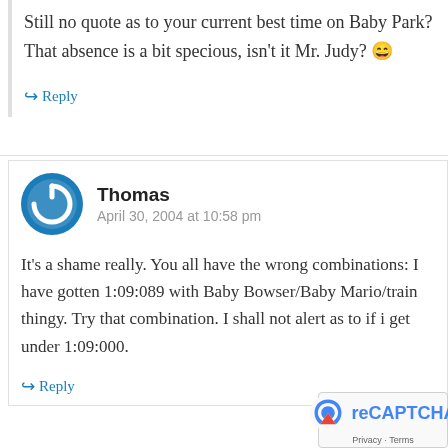Still no quote as to your current best time on Baby Park? That absence is a bit specious, isn't it Mr. Judy? 😄
↪ Reply
Thomas
April 30, 2004 at 10:58 pm
It's a shame really. You all have the wrong combinations: I have gotten 1:09:089 with Baby Bowser/Baby Mario/train thingy. Try that combination. I shall not alert as to if i get under 1:09:000.
↪ Reply